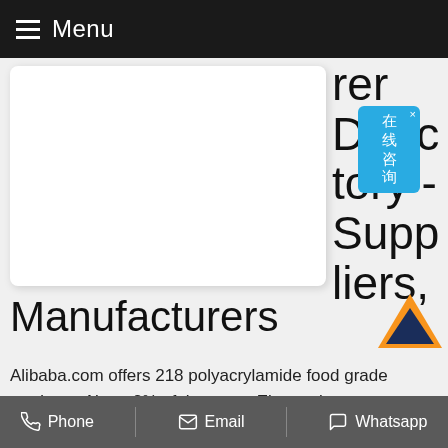Menu
Directory - Suppliers, Manufacturers
Alibaba.com offers 218 polyacrylamide food grade products. About 2% of these are Electronics Chemicals, 5% are Water Treatment Chemicals, and 4% are Paper Chemicals. A wide variety of polyacrylamide food grade options are available to
Phone  Email  Whatsapp